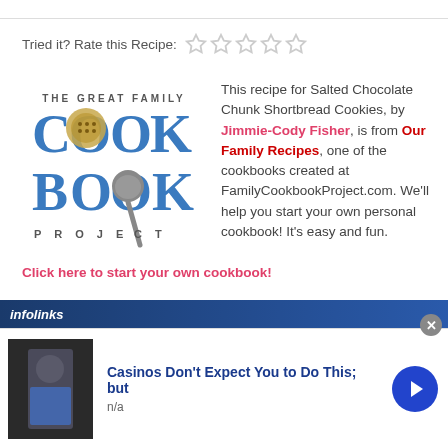Tried it? Rate this Recipe: ☆☆☆☆☆
[Figure (logo): The Great Family Cookbook Project logo with ladle/spoon graphic]
This recipe for Salted Chocolate Chunk Shortbread Cookies, by Jimmie-Cody Fisher, is from Our Family Recipes, one of the cookbooks created at FamilyCookbookProject.com. We'll help you start your own personal cookbook! It's easy and fun. Click here to start your own cookbook!
Contributor:
[Figure (screenshot): Infolinks advertisement banner: Casinos Don't Expect You to Do This; but — with photo of man in blue shirt, n/a label, and blue navigation arrow]